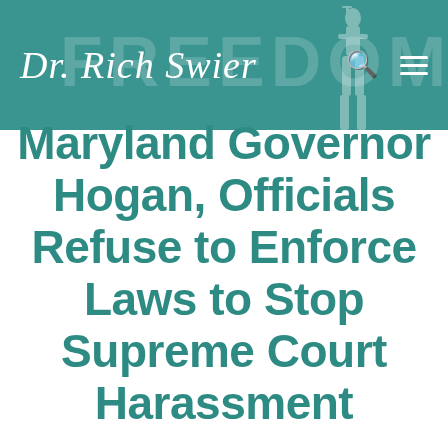Dr. Rich Swier
Maryland Governor Hogan, Officials Refuse to Enforce Laws to Stop Supreme Court Harassment